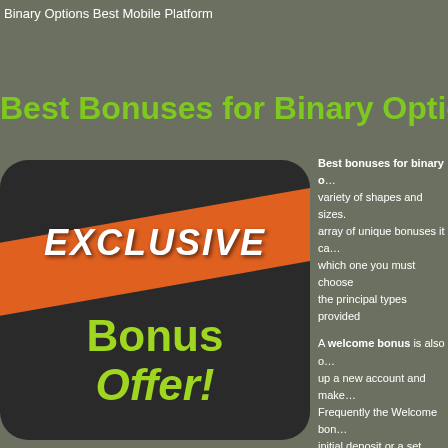Binary Options Best Mobile Platform
Best Bonuses for Binary Options
[Figure (illustration): Dark rounded rectangle with orange diagonal banner reading EXCLUSIVE and green text reading Bonus Offer!]
Best bonuses for binary o… variety of shapes and sizes. array of unique bonuses it ca… which one you must choose the principal types provided
A welcome bonus is also o… up a new account and make… Frequently the Welcome bon… initial deposit or a set figure. great for the first-time dealer funds to obtain some valuab…